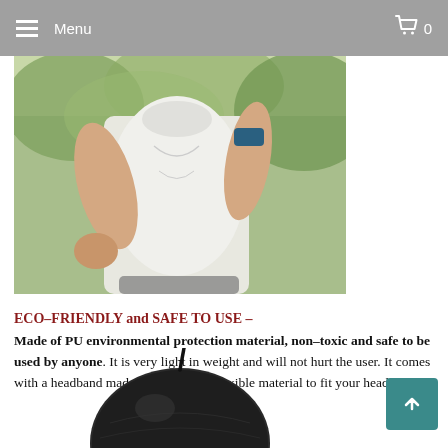Menu  0
[Figure (photo): A person in a white t-shirt running outdoors, wearing a fitness tracker on their arm, with green trees in the background.]
ECO-FRIENDLY and SAFE TO USE – Made of PU environmental protection material, non-toxic and safe to be used by anyone. It is very light in weight and will not hurt the user. It comes with a headband made of elastic and flexible material to fit your head.
[Figure (photo): A dark spherical product (headband or wearable device) with a thin protruding antenna or stem, partially visible at the bottom of the page.]